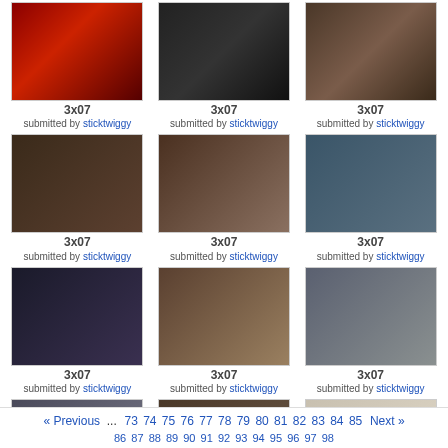[Figure (photo): Grid of 12 TV show screenshots, each labeled 3x07, submitted by sticktwiggy]
3x07
submitted by sticktwiggy
3x07
submitted by sticktwiggy
3x07
submitted by sticktwiggy
3x07
submitted by sticktwiggy
3x07
submitted by sticktwiggy
3x07
submitted by sticktwiggy
3x07
submitted by sticktwiggy
3x07
submitted by sticktwiggy
3x07
submitted by sticktwiggy
3x07
submitted by sticktwiggy
3x07
submitted by sticktwiggy
3x07
submitted by sticktwiggy
« Previous  ... 73 74 75 76 77 78 79 80 81 82 83 84 85  Next »